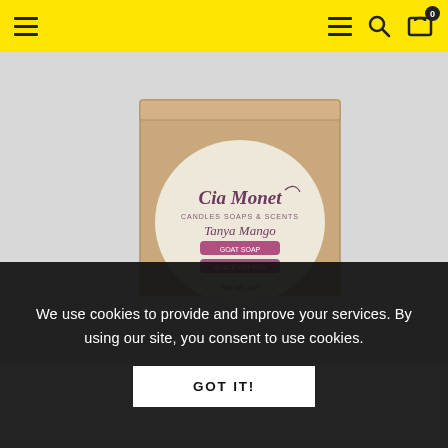Navigation header with hamburger menu, search icon, and cart (0 items) on yellow background
[Figure (photo): Product photo of a kraft paper box with a round cream-colored label reading 'Cia Monet Candles Soaps & Scents — Tanya Mango' with pink accent labels, on a light grey background]
We use cookies to provide and improve your services. By using our site, you consent to use cookies.
GOT IT!